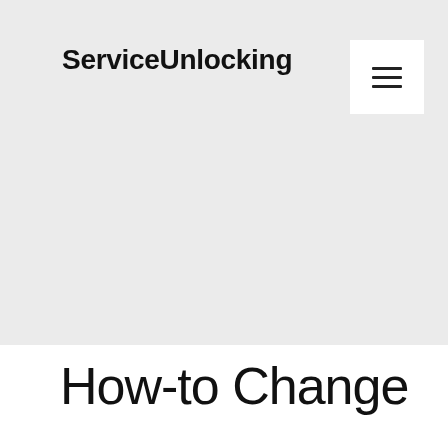ServiceUnlocking
How-to Change